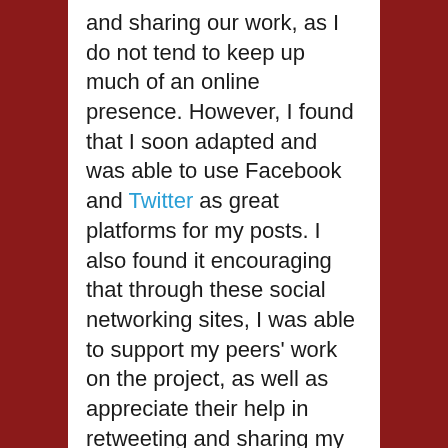and sharing our work, as I do not tend to keep up much of an online presence. However, I found that I soon adapted and was able to use Facebook and Twitter as great platforms for my posts. I also found it encouraging that through these social networking sites, I was able to support my peers' work on the project, as well as appreciate their help in retweeting and sharing my own work.
Julia Swindells states that there is a neglected absence of nineteenth century literature by female writers,